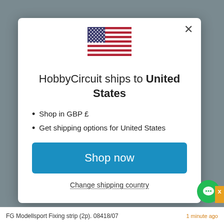[Figure (screenshot): A modal dialog popup on a hobby/retail website. Shows a US flag, heading 'HobbyCircuit ships to United States', bullet points about GBP and shipping options, a blue 'Shop now' button, and a 'Change shipping country' link. Background shows a gray website page behind the modal.]
HobbyCircuit ships to United States
Shop in GBP £
Get shipping options for United States
Shop now
Change shipping country
FG Modellsport Fixing strip (2p). 08418/07